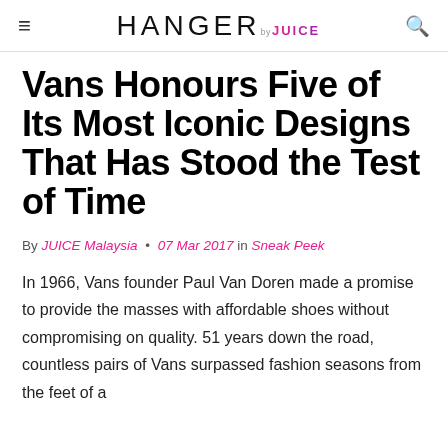HANGER by JUICE
Vans Honours Five of Its Most Iconic Designs That Has Stood the Test of Time
By JUICE Malaysia • 07 Mar 2017 in Sneak Peek
In 1966, Vans founder Paul Van Doren made a promise to provide the masses with affordable shoes without compromising on quality. 51 years down the road, countless pairs of Vans surpassed fashion seasons from the feet of a